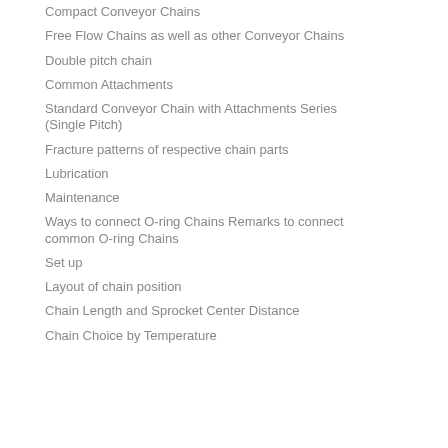Compact Conveyor Chains
Free Flow Chains as well as other Conveyor Chains
Double pitch chain
Common Attachments
Standard Conveyor Chain with Attachments Series (Single Pitch)
Fracture patterns of respective chain parts
Lubrication
Maintenance
Ways to connect O-ring Chains Remarks to connect common O-ring Chains
Set up
Layout of chain position
Chain Length and Sprocket Center Distance
Chain Choice by Temperature